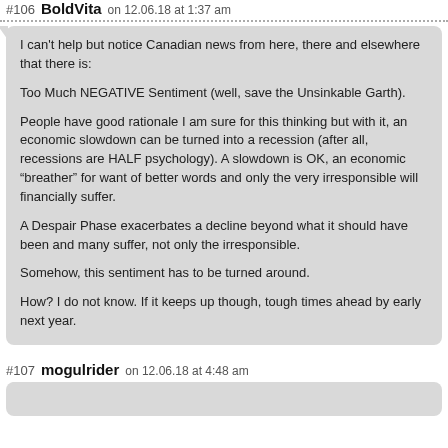#106 BoldVita on 12.06.18 at 1:37 am
I can't help but notice Canadian news from here, there and elsewhere that there is:

Too Much NEGATIVE Sentiment (well, save the Unsinkable Garth).

People have good rationale I am sure for this thinking but with it, an economic slowdown can be turned into a recession (after all, recessions are HALF psychology). A slowdown is OK, an economic “breather” for want of better words and only the very irresponsible will financially suffer.

A Despair Phase exacerbates a decline beyond what it should have been and many suffer, not only the irresponsible.

Somehow, this sentiment has to be turned around.

How? I do not know. If it keeps up though, tough times ahead by early next year.
#107 mogulrider on 12.06.18 at 4:48 am